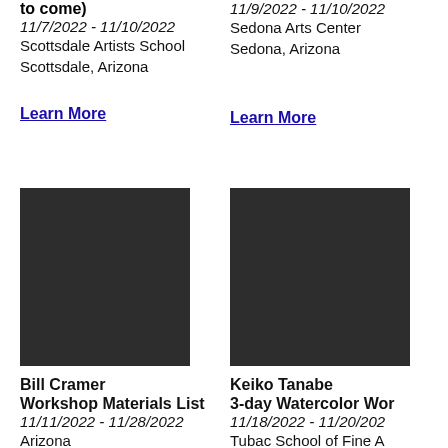to come)
11/7/2022 - 11/10/2022
Scottsdale Artists School
Scottsdale, Arizona
11/9/2022 - 11/10/2022
Sedona Arts Center
Sedona, Arizona
Learn More
Learn More
[Figure (photo): Dark placeholder image for Bill Cramer workshop]
[Figure (photo): Dark placeholder image for Keiko Tanabe workshop]
Bill Cramer
Workshop Materials List
11/11/2022 - 11/28/2022
Arizona
Keiko Tanabe
3-day Watercolor Workshop
11/18/2022 - 11/20/2022
Tubac School of Fine Art,
AZ
Tubac, Arizona